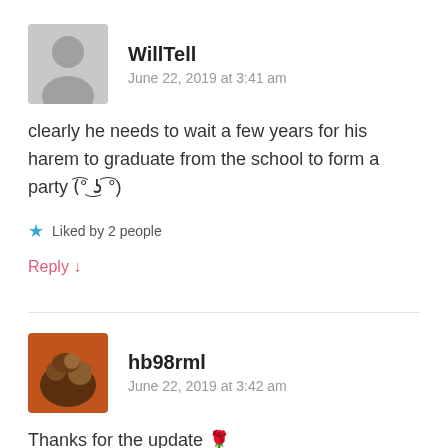WillTell
June 22, 2019 at 3:41 am
clearly he needs to wait a few years for his harem to graduate from the school to form a party (⌐°͜ʖ°)
Liked by 2 people
Reply ↓
hb98rml
June 22, 2019 at 3:42 am
Thanks for the update 🌹
Like